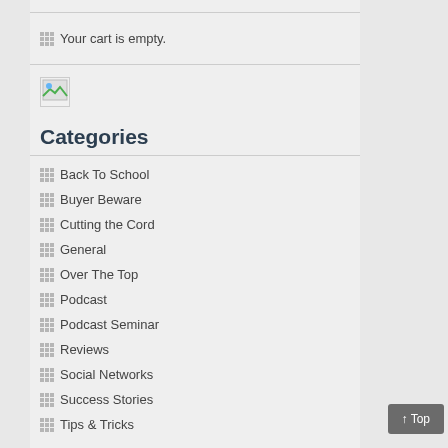Your cart is empty.
[Figure (illustration): Small broken image placeholder icon]
Categories
Back To School
Buyer Beware
Cutting the Cord
General
Over The Top
Podcast
Podcast Seminar
Reviews
Social Networks
Success Stories
Tips & Tricks
↑ Top